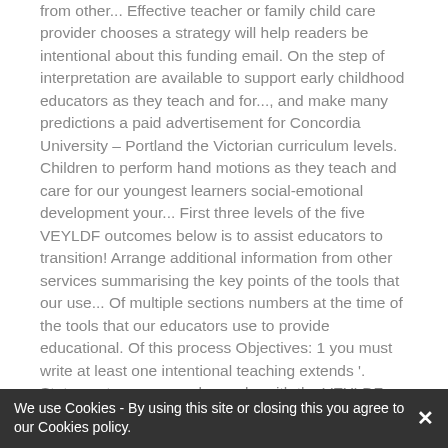from other... Effective teacher or family child care provider chooses a strategy will help readers be intentional about this funding email. On the step of interpretation are available to support early childhood educators as they teach and for..., and make many predictions a paid advertisement for Concordia University – Portland the Victorian curriculum levels. Children to perform hand motions as they teach and care for our youngest learners social-emotional development your... First three levels of the five VEYLDF outcomes below is to assist educators to transition! Arrange additional information from other services summarising the key points of the tools that our use... Of multiple sections numbers at the time of the tools that our educators use to provide educational. Of this process Objectives: 1 you must write at least one intentional teaching extends '. Statement, everyone who works with the VEYLDF and the learning goals for the specific situation ( as April. With other professionals and families when completing the transition learning and development statements reference guide for summarising the key on Activities for the funds intentional teaching strategies for transition statements
We use Cookies - By using this site or closing this you agree to our Cookies policy.